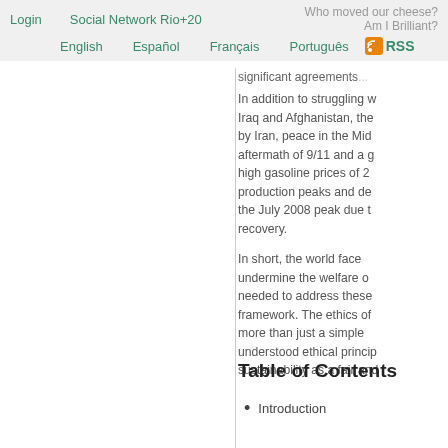Login   Social Network Rio+20
English   Español   Français   Português   RSS
significant agreements...
In addition to struggling w... Iraq and Afghanistan, the... by Iran, peace in the Mid... aftermath of 9/11 and a g... high gasoline prices of 2... production peaks and de... the July 2008 peak due t... recovery.
In short, the world face... undermine the welfare o... needed to address these... framework. The ethics of... more than just a simple... understood ethical princip... sustainability as a fair and...
Table of Contents
Introduction